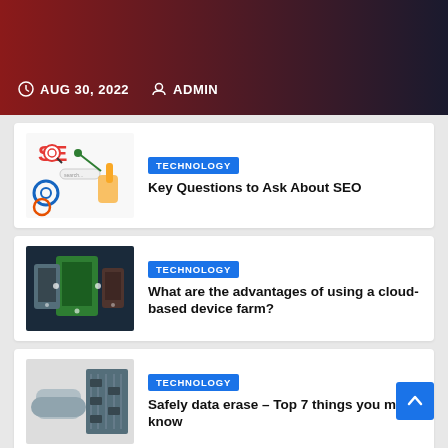AUG 30, 2022  ADMIN
[Figure (illustration): SEO graphic with gears, search bar, and hand pointing]
TECHNOLOGY
Key Questions to Ask About SEO
[Figure (photo): Mobile devices and green circuit boards/tablets in a tech setting]
TECHNOLOGY
What are the advantages of using a cloud-based device farm?
[Figure (photo): Person handling electronic components or circuit boards]
TECHNOLOGY
Safely data erase – Top 7 things you must know